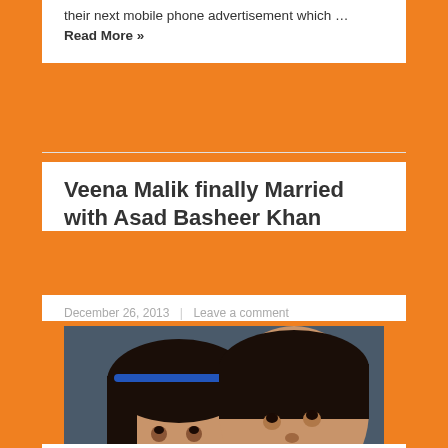their next mobile phone advertisement which … Read More »
Veena Malik finally Married with Asad Basheer Khan
December 26, 2013   Leave a comment
[Figure (photo): Photo of Veena Malik and Asad Basheer Khan smiling together, a couple selfie. Watermark reads www.latestlifestyles.com]
Indian actresses and Bollywood A...